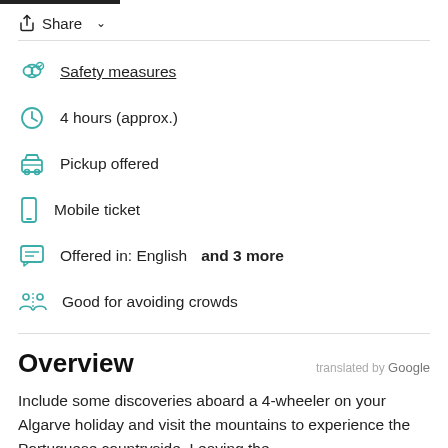Share
Safety measures
4 hours (approx.)
Pickup offered
Mobile ticket
Offered in: English and 3 more
Good for avoiding crowds
Overview
translated by Google
Include some discoveries aboard a 4-wheeler on your Algarve holiday and visit the mountains to experience the Portuguese countryside. Leaving the